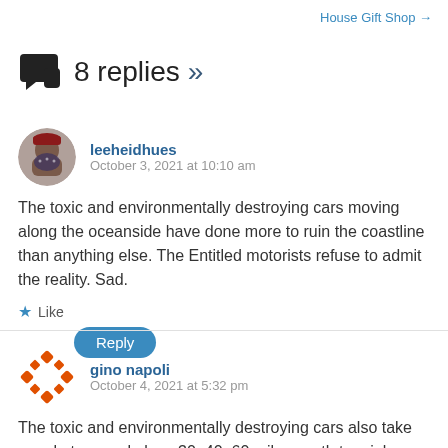House Gift Shop →
8 replies »
leeheidhues
October 3, 2021 at 10:10 am
The toxic and environmentally destroying cars moving along the oceanside have done more to ruin the coastline than anything else. The Entitled motorists refuse to admit the reality. Sad.
★ Like
Reply
gino napoli
October 4, 2021 at 5:32 pm
The toxic and environmentally destroying cars also take people to a workplace 30, 40, 60 miles south to a job. Riding a bike or...